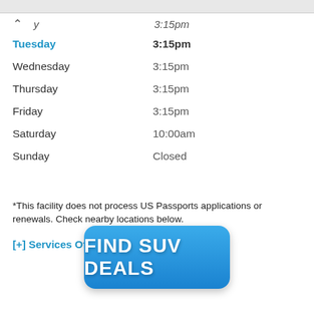| Day | Time |
| --- | --- |
| (previous day) | 3:15pm |
| Tuesday | 3:15pm |
| Wednesday | 3:15pm |
| Thursday | 3:15pm |
| Friday | 3:15pm |
| Saturday | 10:00am |
| Sunday | Closed |
*This facility does not process US Passports applications or renewals. Check nearby locations below.
[+] Services Offered at this location
[Figure (other): Blue button with text FIND SUV DEALS]